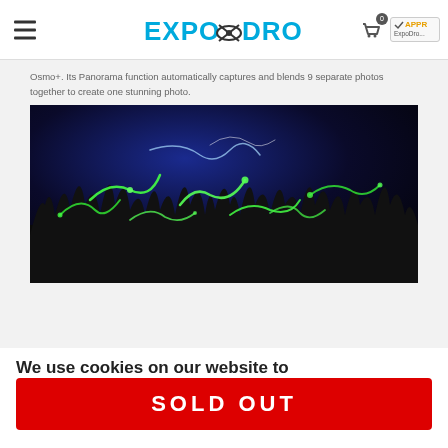EXPO DRONE header with hamburger menu, logo, cart icon badge 0, and Shopper Approved badge
Osmo+. Its Panorama function automatically captures and blends 9 separate photos together to create one stunning photo.
[Figure (photo): Night-time long-exposure photo showing glowing green firefly light trails over dark grass silhouettes against a deep blue sky]
We use cookies on our website to
SOLD OUT